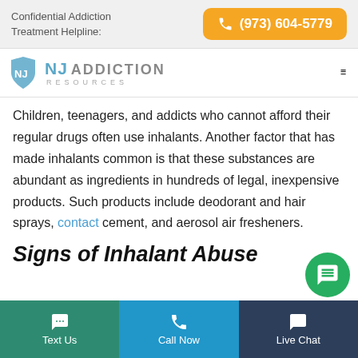Confidential Addiction Treatment Helpline: (973) 604-5779
[Figure (logo): NJ Addiction Resources logo with teal state silhouette icon, hamburger menu icon on right]
Children, teenagers, and addicts who cannot afford their regular drugs often use inhalants. Another factor that has made inhalants common is that these substances are abundant as ingredients in hundreds of legal, inexpensive products. Such products include deodorant and hair sprays, contact cement, and aerosol air fresheners.
Signs of Inhalant Abuse
Text Us | Call Now | Live Chat